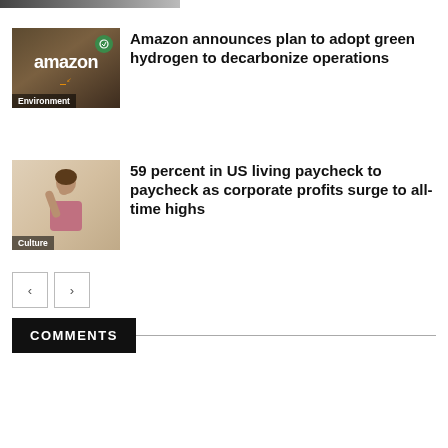[Figure (photo): Partially cropped image strip at top of page]
[Figure (photo): Amazon delivery photo with amazon branding and green badge, labeled Environment]
Amazon announces plan to adopt green hydrogen to decarbonize operations
[Figure (photo): Person stressed with hand on head, labeled Culture]
59 percent in US living paycheck to paycheck as corporate profits surge to all-time highs
COMMENTS